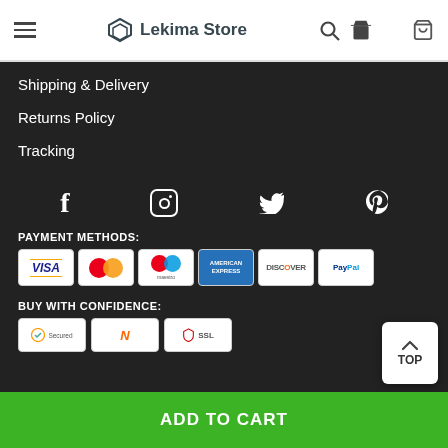Lekima Store
Shipping & Delivery
Returns Policy
Tracking
[Figure (infographic): Social media icons row: Facebook, Instagram, Twitter, Pinterest]
PAYMENT METHODS:
[Figure (infographic): Payment method logos: Visa, Mastercard, Maestro, American Express, Discover, PayPal]
BUY WITH CONFIDENCE:
[Figure (infographic): Trust badges: Secured, Norton, SSL]
ADD TO CART